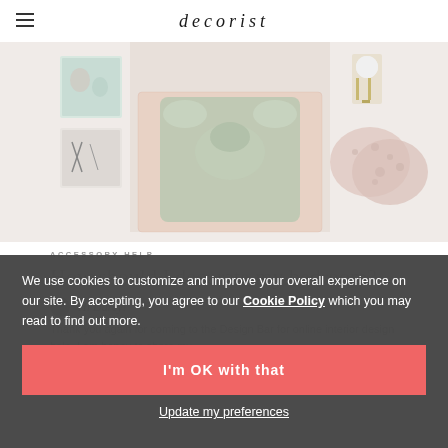decorist
[Figure (photo): Interior design mood board showing a bed with sage green duvet on a pink patterned rug, flanked by wall art, a plant stand with white pot, and two round pink fluffy cushions]
ACCESSORY HELP
How should I decorate my bedroom?
Hi Darcy!
Thank you again for coming to the Design Bar for online interior design help. I am happy to share my
We use cookies to customize and improve your overall experience on our site. By accepting, you agree to our Cookie Policy which you may read to find out more.
I'm OK with that
Update my preferences